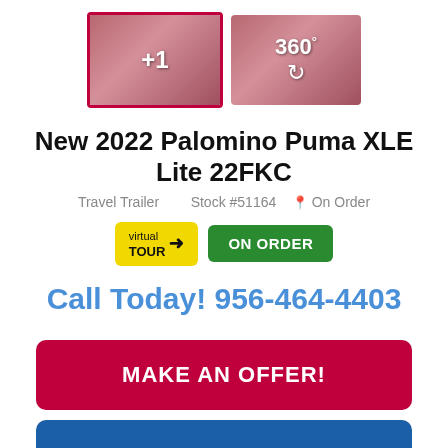[Figure (photo): Two thumbnail images of RV interior, the first selected with a pink border showing '+1' overlay, the second showing a 360° icon]
New 2022 Palomino Puma XLE Lite 22FKC
Travel Trailer   Stock #51164   📍 On Order
[Figure (other): Virtual Tour badge (yellow) and ON ORDER badge (green)]
Call Today! 956-464-4403
MAKE AN OFFER!